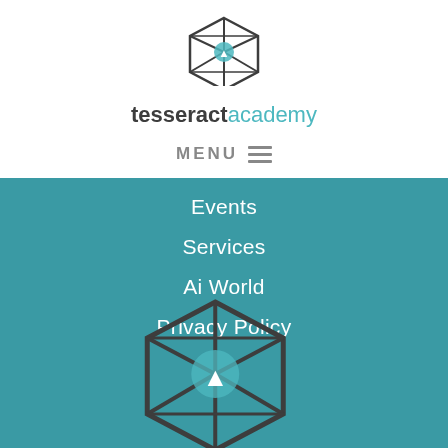[Figure (logo): Tesseract Academy logo: a hexagonal wireframe cube with a teal circle inside, above the text 'tesseractacademy']
tesseractacademy
MENU ≡
Events
Services
Ai World
Privacy Policy
[Figure (logo): Large Tesseract Academy logo icon (hexagonal wireframe cube with teal highlight) displayed on teal background, partially cropped at bottom]